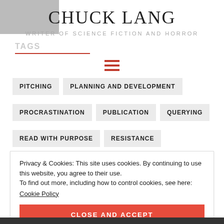[Figure (photo): Thumbnail image in top-left corner, partially visible]
CHUCK LANG
WRITER OF SCIENCE FICTION AND HORROR
TAGS
[Figure (other): Hamburger menu icon — three red horizontal lines]
PITCHING
PLANNING AND DEVELOPMENT
PROCRASTINATION
PUBLICATION
QUERYING
READ WITH PURPOSE
RESISTANCE
Privacy & Cookies: This site uses cookies. By continuing to use this website, you agree to their use.
To find out more, including how to control cookies, see here:
Cookie Policy
CLOSE AND ACCEPT